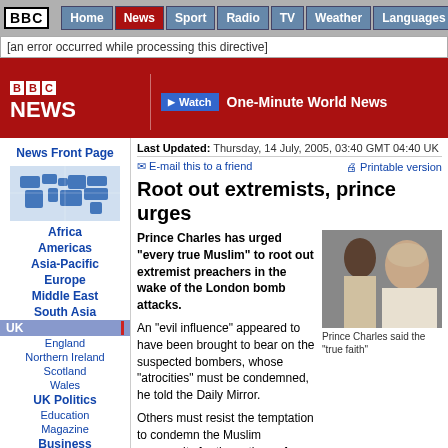BBC | Home | News | Sport | Radio | TV | Weather | Languages
[an error occurred while processing this directive]
[Figure (logo): BBC NEWS logo in red header with 'Watch One-Minute World News' button]
News Front Page
[Figure (map): BBC News world map with navigation links: Africa, Americas, Asia-Pacific, Europe, Middle East, South Asia, UK, England, Northern Ireland, Scotland, Wales, UK Politics, Education, Magazine, Business]
Last Updated: Thursday, 14 July, 2005, 03:40 GMT 04:40 UK
E-mail this to a friend | Printable version
Root out extremists, prince urges
Prince Charles has urged "every true Muslim" to root out extremist preachers in the wake of the London bomb attacks.
An "evil influence" appeared to have been brought to bear on the suspected bombers, whose "atrocities" must be condemned, he told the Daily Mirror.
[Figure (photo): Photo of Prince Charles with another person]
Prince Charles said the "true faith"
Others must resist the temptation to condemn the Muslim community for the actions of an e... added.
Tony Blair has said talks will start on new laws to make deport people trying to "incite hatred".